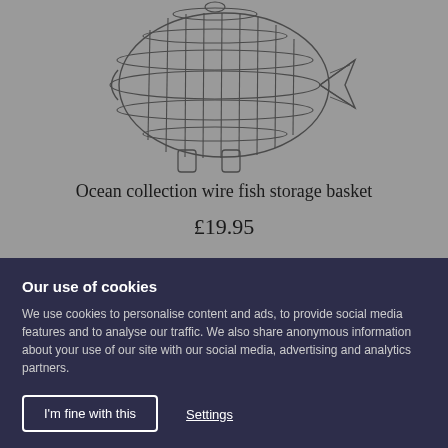[Figure (illustration): Wire fish-shaped storage basket product photo on grey background]
Ocean collection wire fish storage basket
£19.95
Our use of cookies
We use cookies to personalise content and ads, to provide social media features and to analyse our traffic. We also share anonymous information about your use of our site with our social media, advertising and analytics partners.
I'm fine with this
Settings